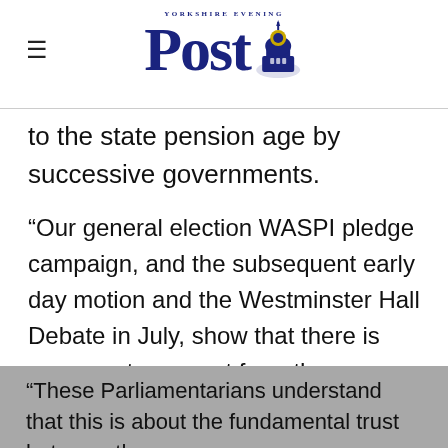Yorkshire Evening Post
to the state pension age by successive governments.
“Our general election WASPI pledge campaign, and the subsequent early day motion and the Westminster Hall Debate in July, show that there is cross party support from the Conservatives, Labour, the SNP, the Liberal Democrats and the DUP.
“These Parliamentarians understand that this is about the fundamental trust between the